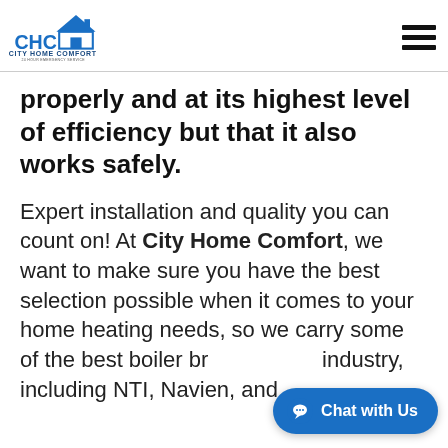City Home Comfort logo and navigation menu
properly and at its highest level of efficiency but that it also works safely.
Expert installation and quality you can count on! At City Home Comfort, we want to make sure you have the best selection possible when it comes to your home heating needs, so we carry some of the best boiler brands in the industry, including NTI, Navien, and